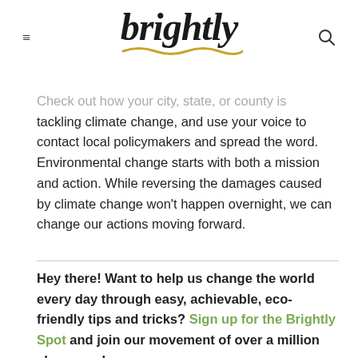brightly (logo)
Check out how your city, state, or county is tackling climate change, and use your voice to contact local policymakers and spread the word. Environmental change starts with both a mission and action. While reversing the damages caused by climate change won't happen overnight, we can change our actions moving forward.
Hey there! Want to help us change the world every day through easy, achievable, eco-friendly tips and tricks? Sign up for the Brightly Spot and join our movement of over a million changemakers.